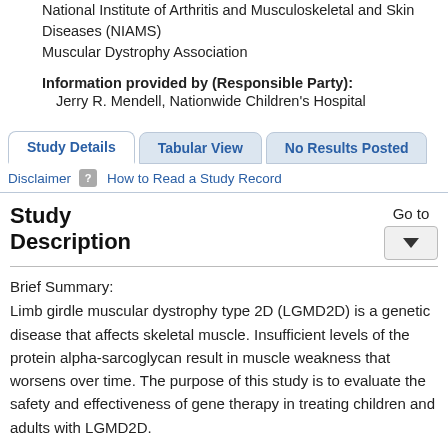National Institute of Arthritis and Musculoskeletal and Skin Diseases (NIAMS)
Muscular Dystrophy Association
Information provided by (Responsible Party):
Jerry R. Mendell, Nationwide Children's Hospital
Study Details | Tabular View | No Results Posted
Disclaimer  [?] How to Read a Study Record
Study Description
Go to
Brief Summary:
Limb girdle muscular dystrophy type 2D (LGMD2D) is a genetic disease that affects skeletal muscle. Insufficient levels of the protein alpha-sarcoglycan result in muscle weakness that worsens over time. The purpose of this study is to evaluate the safety and effectiveness of gene therapy in treating children and adults with LGMD2D.